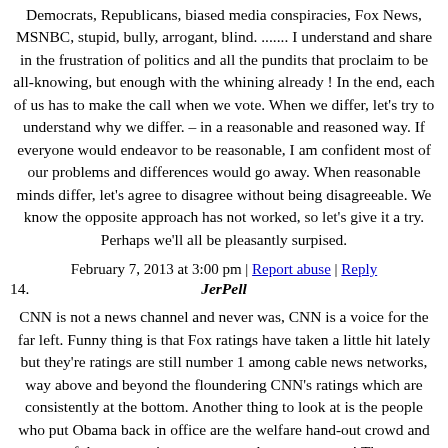Democrats, Republicans, biased media conspiracies, Fox News, MSNBC, stupid, bully, arrogant, blind. ....... I understand and share in the frustration of politics and all the pundits that proclaim to be all-knowing, but enough with the whining already ! In the end, each of us has to make the call when we vote. When we differ, let's try to understand why we differ. – in a reasonable and reasoned way. If everyone would endeavor to be reasonable, I am confident most of our problems and differences would go away. When reasonable minds differ, let's agree to disagree without being disagreeable. We know the opposite approach has not worked, so let's give it a try. Perhaps we'll all be pleasantly surpised.
February 7, 2013 at 3:00 pm | Report abuse | Reply
14.   JerPell
CNN is not a news channel and never was, CNN is a voice for the far left. Funny thing is that Fox ratings have taken a little hit lately but they're ratings are still number 1 among cable news networks, way above and beyond the floundering CNN's ratings which are consistently at the bottom. Another thing to look at is the people who put Obama back in office are the welfare hand-out crowd and most of them are to ignorant to watch news anyway! They out number the